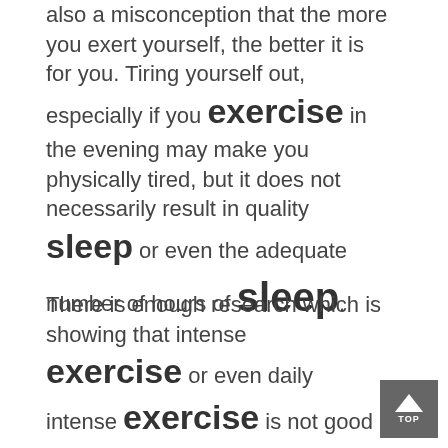also a misconception that the more you exert yourself, the better it is for you. Tiring yourself out, especially if you exercise in the evening may make you physically tired, but it does not necessarily result in quality sleep or even the adequate number of hours of sleep.
There is enough research which is showing that intense exercise or even daily intense exercise is not good for health. There are many things which happen when we get into this kind of exercising: